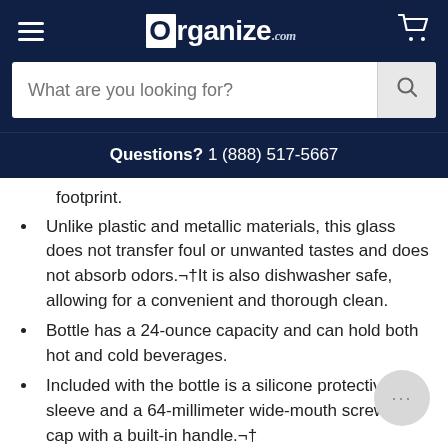Organize.com — hamburger menu, search bar, Questions? 1 (888) 517-5667
footprint.
Unlike plastic and metallic materials, this glass does not transfer foul or unwanted tastes and does not absorb odors.¬†It is also dishwasher safe, allowing for a convenient and thorough clean.
Bottle has a 24-ounce capacity and can hold both hot and cold beverages.
Included with the bottle is a silicone protective sleeve and a 64-millimeter wide-mouth screw on cap with a built-in handle.¬†
It is 100% free of BPA, BPS, BPF and other harmful